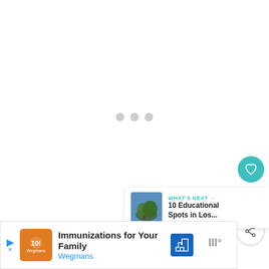[Figure (screenshot): Loading state with three gray dots centered on a white background]
[Figure (infographic): Teal heart/like button, count badge showing 1, and share button on right side]
[Figure (screenshot): What's Next panel with thumbnail and text: 10 Educational Spots in Los...]
[Figure (screenshot): Advertisement banner: Immunizations for Your Family - Wegmans]